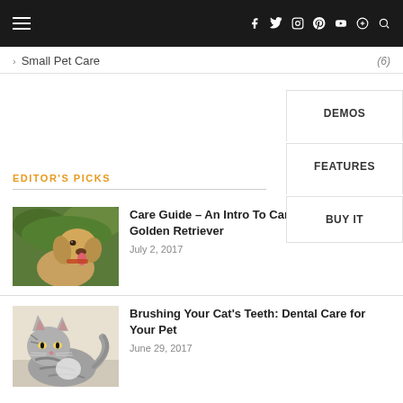Navigation bar with hamburger menu and social icons (f, twitter, instagram, pinterest, tumblr, youtube, search)
> Small Pet Care (6)
DEMOS
FEATURES
BUY IT
EDITOR'S PICKS
[Figure (photo): Golden Retriever dog with tongue out, outdoors with green background]
Care Guide – An Intro To Caring For Your Golden Retriever
July 2, 2017
[Figure (photo): Gray tabby cat sitting on white surface]
Brushing Your Cat's Teeth: Dental Care for Your Pet
June 29, 2017